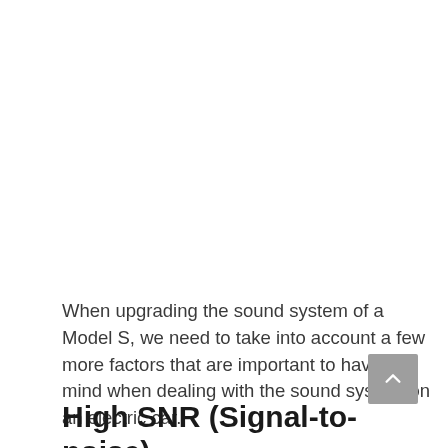When upgrading the sound system of a Model S, we need to take into account a few more factors that are important to have in mind when dealing with the sound system on an electric car.
High SNR (Signal-to-noise)